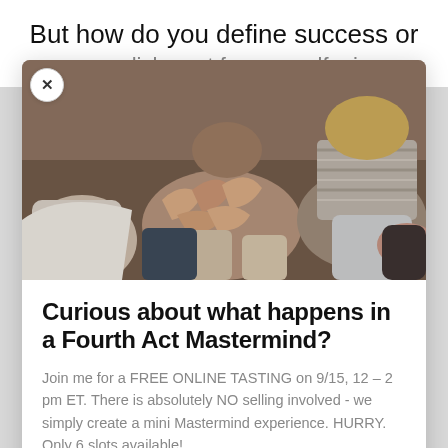But how do you define success or
accomplishment for yourself, given
[Figure (photo): Group of people sitting in a circle engaged in discussion, hands visible and gesturing, casual group setting]
Curious about what happens in a Fourth Act Mastermind?
Join me for a FREE ONLINE TASTING on 9/15, 12 – 2 pm ET. There is absolutely NO selling involved - we simply create a mini Mastermind experience. HURRY. Only 6 slots available!